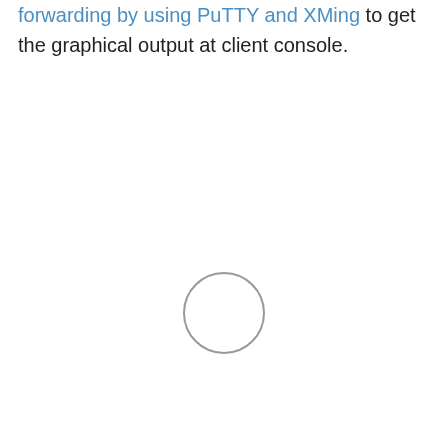forwarding by using PuTTY and XMing to get the graphical output at client console.
[Figure (other): A simple empty circle (ring) centered on the page, rendered in light gray stroke with no fill.]